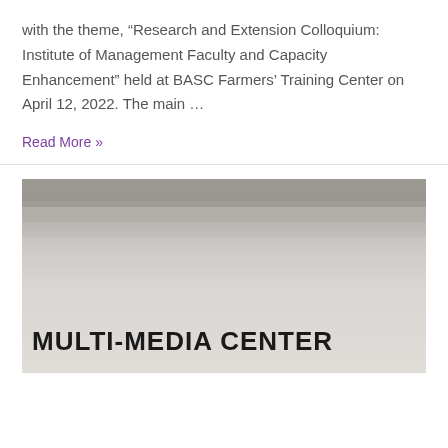with the theme, “Research and Extension Colloquium: Institute of Management Faculty and Capacity Enhancement” held at BASC Farmers’ Training Center on April 12, 2022. The main …
Read More »
[Figure (photo): Photo of a sign or board showing the text 'MULTI-MEDIA CENTER' in large bold dark letters, with layered pale grey and beige horizontal stripes in the upper portion of the image.]